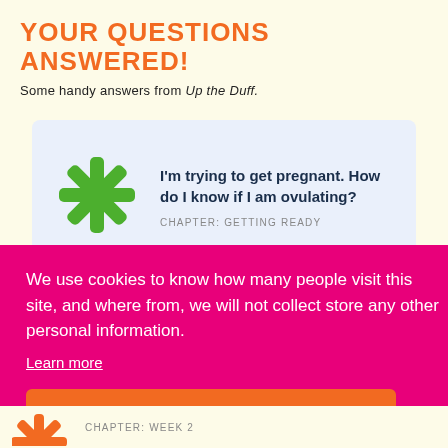YOUR QUESTIONS ANSWERED!
Some handy answers from Up the Duff.
I'm trying to get pregnant. How do I know if I am ovulating?
CHAPTER: GETTING READY
We use cookies to know how many people visit this site, and where from, we will not collect store any other personal information.
Learn more
Got it!
CHAPTER: WEEK 2